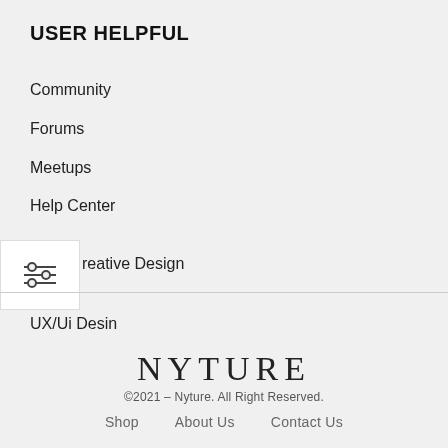USER HELPFUL
Community
Forums
Meetups
Help Center
[Figure (illustration): Filter/settings icon showing two sliders with circles]
Creative Design
UX/Ui Desin
NYTURE
©2021 – Nyture. All Right Reserved.
Shop   About Us   Contact Us